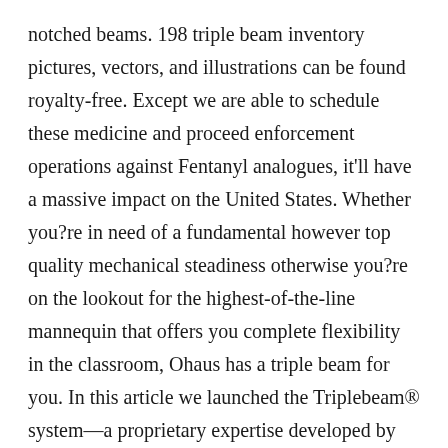notched beams. 198 triple beam inventory pictures, vectors, and illustrations can be found royalty-free. Except we are able to schedule these medicine and proceed enforcement operations against Fentanyl analogues, it'll have a massive impact on the United States. Whether you?re in need of a fundamental however top quality mechanical steadiness otherwise you?re on the lookout for the highest-of-the-line mannequin that offers you complete flexibility in the classroom, Ohaus has a triple beam for you. In this article we launched the Triplebeam® system—a proprietary expertise developed by Hitachi Excessive-Tech—in addition to two new options of the NX2000: the low-vitality Xe ion-beam system and the double-tilt system. So, in weighing an object directly on the pan,